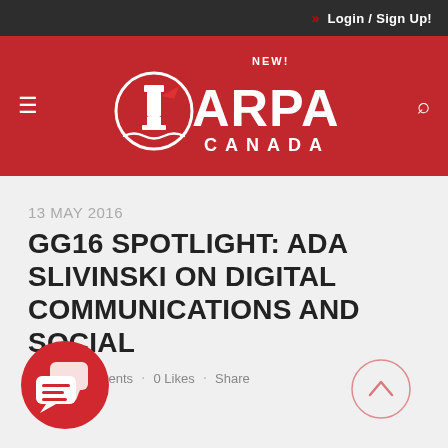» Login / Sign Up!
[Figure (logo): ARPA Canada logo - red background with lighthouse icon and text NEW! ARPA CANADA in white]
13 MAY 2016
GG16 SPOTLIGHT: ADA SLIVINSKI ON DIGITAL COMMUNICATIONS AND SOCIAL
In · 0 Comments · 0 Likes · Share